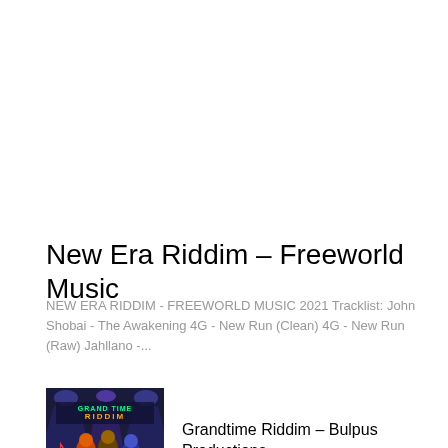New Era Riddim – Freeworld Music
NEW ERA RIDDIM - FREEWORLD MUSIC 2021 Tracklist: John Shobai - The Awakening 4G - New Run (Clean) 4G - New Run (Raw) Jahllano -...
[Figure (illustration): Grandtime Riddim album artwork showing colorful cartoon characters at a music event with 'GRAND TIME RIDDIM' text]
Grandtime Riddim – Bulpus Productions
One Day Riddim – Seanizzle Records